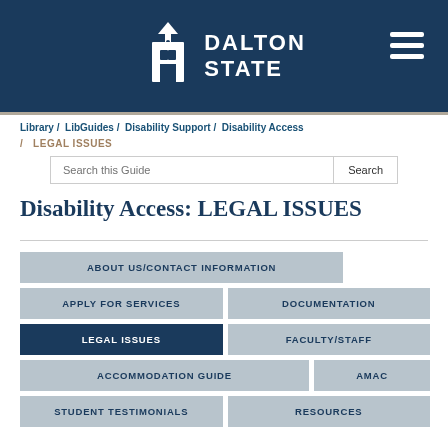[Figure (logo): Dalton State university logo with building icon and text DALTON STATE on dark blue background header]
Library / LibGuides / Disability Support / Disability Access / LEGAL ISSUES
Search this Guide
Disability Access: LEGAL ISSUES
ABOUT US/CONTACT INFORMATION
APPLY FOR SERVICES
DOCUMENTATION
LEGAL ISSUES
FACULTY/STAFF
ACCOMMODATION GUIDE
AMAC
STUDENT TESTIMONIALS
RESOURCES